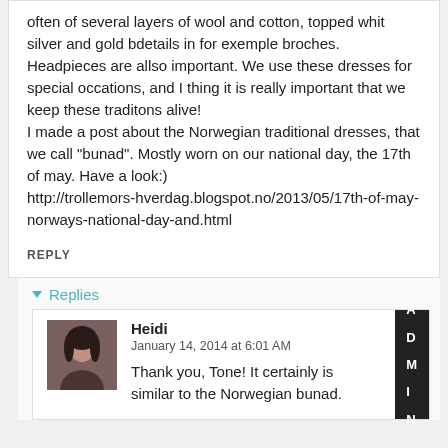often of several layers of wool and cotton, topped whit silver and gold bdetails in for exemple broches. Headpieces are allso important. We use these dresses for special occations, and I thing it is really important that we keep these traditons alive!
I made a post about the Norwegian traditional dresses, that we call "bunad". Mostly worn on our national day, the 17th of may. Have a look:)
http://trollemors-hverdag.blogspot.no/2013/05/17th-of-may-norways-national-day-and.html
REPLY
Replies
Heidi
January 14, 2014 at 6:01 AM
Thank you, Tone! It certainly is similar to the Norwegian bunad.